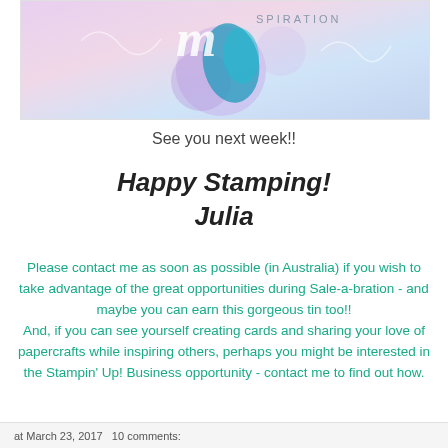[Figure (illustration): Decorative banner image with pastel purple/pink/blue gradient background and partial text 'SPIRATION' visible at top with decorative script elements]
See you next week!!
Happy Stamping!
Julia
Please contact me as soon as possible (in Australia) if you wish to take advantage of the great opportunities during Sale-a-bration - and maybe you can earn this gorgeous tin too!!
And, if you can see yourself creating cards and sharing your love of papercrafts while inspiring others, perhaps you might be interested in the Stampin' Up! Business opportunity - contact me to find out how.
at March 23, 2017   10 comments: